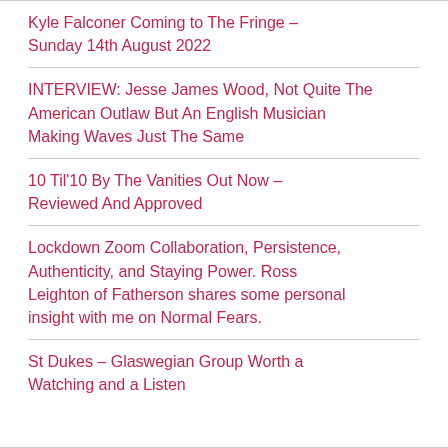Kyle Falconer Coming to The Fringe – Sunday 14th August 2022
INTERVIEW: Jesse James Wood, Not Quite The American Outlaw But An English Musician Making Waves Just The Same
10 Til'10 By The Vanities Out Now – Reviewed And Approved
Lockdown Zoom Collaboration, Persistence, Authenticity, and Staying Power. Ross Leighton of Fatherson shares some personal insight with me on Normal Fears.
St Dukes – Glaswegian Group Worth a Watching and a Listen